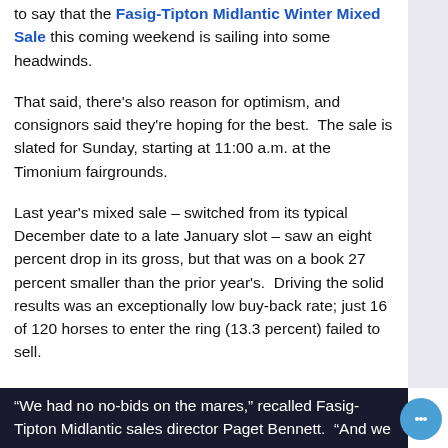to say that the Fasig-Tipton Midlantic Winter Mixed Sale this coming weekend is sailing into some headwinds.
That said, there's also reason for optimism, and consignors said they're hoping for the best.  The sale is slated for Sunday, starting at 11:00 a.m. at the Timonium fairgrounds.
Last year's mixed sale – switched from its typical December date to a late January slot – saw an eight percent drop in its gross, but that was on a book 27 percent smaller than the prior year's.  Driving the solid results was an exceptionally low buy-back rate; just 16 of 120 horses to enter the ring (13.3 percent) failed to sell.
“We had no no-bids on the mares,” recalled Fasig-Tipton Midlantic sales director Paget Bennett.  “And we